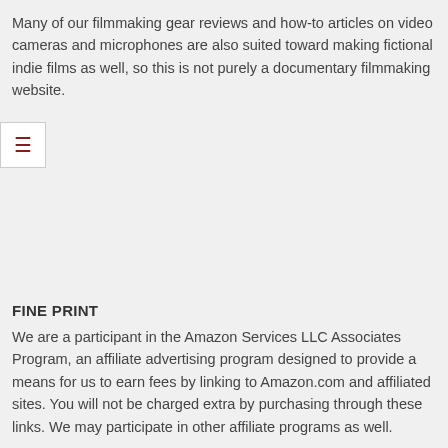Many of our filmmaking gear reviews and how-to articles on video cameras and microphones are also suited toward making fictional indie films as well, so this is not purely a documentary filmmaking website.
[Figure (other): Hamburger menu icon button with dark red/maroon lines on white background]
FINE PRINT
We are a participant in the Amazon Services LLC Associates Program, an affiliate advertising program designed to provide a means for us to earn fees by linking to Amazon.com and affiliated sites. You will not be charged extra by purchasing through these links. We may participate in other affiliate programs as well.